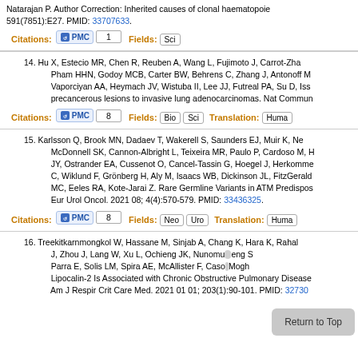Natarajan P. Author Correction: Inherited causes of clonal haematopoiesis. 591(7851):E27. PMID: 33707633.
Citations: PMC 1   Fields: Sci
14. Hu X, Estecio MR, Chen R, Reuben A, Wang L, Fujimoto J, Carrot-Zha... Pham HHN, Godoy MCB, Carter BW, Behrens C, Zhang J, Antonoff M... Vaporciyan AA, Heymach JV, Wistuba II, Lee JJ, Futreal PA, Su D, Issa... precancerous lesions to invasive lung adenocarcinomas. Nat Commun...
Citations: PMC 8   Fields: Bio  Sci   Translation: Huma...
15. Karlsson Q, Brook MN, Dadaev T, Wakerell S, Saunders EJ, Muir K, Ne... McDonnell SK, Cannon-Albright L, Teixeira MR, Paulo P, Cardoso M, H... JY, Ostrander EA, Cussenot O, Cancel-Tassin G, Hoegel J, Herkommen... C, Wiklund F, Grönberg H, Aly M, Isaacs WB, Dickinson JL, FitzGerald... MC, Eeles RA, Kote-Jarai Z. Rare Germline Variants in ATM Predispose... Eur Urol Oncol. 2021 08; 4(4):570-579. PMID: 33436325.
Citations: PMC 8   Fields: Neo  Uro   Translation: Huma...
16. Treekitkarnmongkol W, Hassane M, Sinjab A, Chang K, Hara K, Rahal... J, Zhou J, Lang W, Xu L, Ochieng JK, Nunomu... eng S... Parra E, Solis LM, Spira AE, McAllister F, Caso... Mogh... Lipocalin-2 Is Associated with Chronic Obstructive Pulmonary Disease... Am J Respir Crit Care Med. 2021 01 01; 203(1):90-101. PMID: 327300...